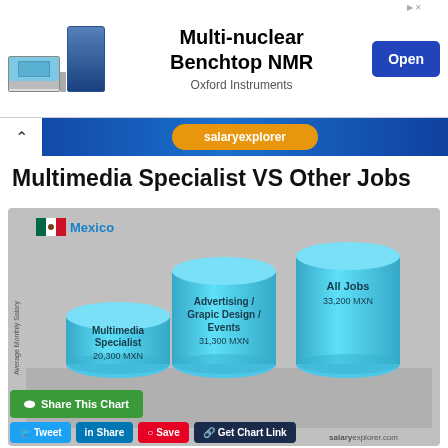[Figure (infographic): Advertisement banner for Oxford Instruments Multi-nuclear Benchtop NMR with Open button]
[Figure (infographic): Blue navigation bar with up arrow and orange button]
Multimedia Specialist VS Other Jobs
[Figure (bar-chart): 3D cylinder bar chart showing average monthly salary in Mexico. Mexico flag shown. salaryexplorer.com watermark.]
Share This Chart
Tweet  Share  Save  Get Chart Link